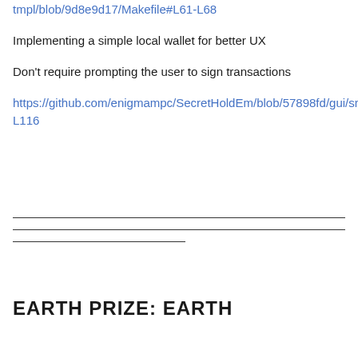tmpl/blob/9d8e9d17/Makefile#L61-L68
Implementing a simple local wallet for better UX
Don't require prompting the user to sign transactions
https://github.com/enigmampc/SecretHoldEm/blob/57898fd/gui/src/App.js#L80-L116
EARTH PRIZE: EARTH